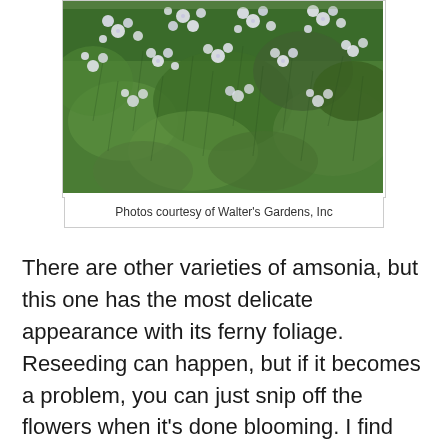[Figure (photo): Dense cluster of small white flowers on ferny green foliage (amsonia plant)]
Photos courtesy of Walter's Gardens, Inc
There are other varieties of amsonia, but this one has the most delicate appearance with its ferny foliage. Reseeding can happen, but if it becomes a problem, you can just snip off the flowers when it’s done blooming. I find the few plants that actually make it past my spring Preen treatment, can be dug up and given to